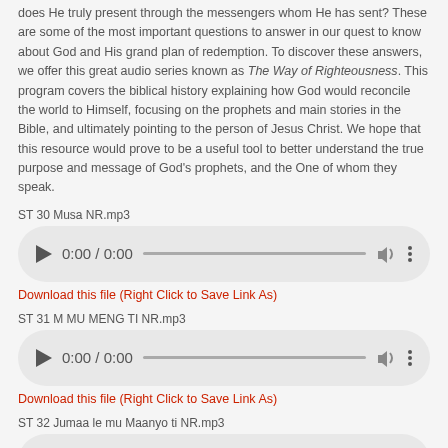does He truly present through the messengers whom He has sent? These are some of the most important questions to answer in our quest to know about God and His grand plan of redemption. To discover these answers, we offer this great audio series known as The Way of Righteousness. This program covers the biblical history explaining how God would reconcile the world to Himself, focusing on the prophets and main stories in the Bible, and ultimately pointing to the person of Jesus Christ. We hope that this resource would prove to be a useful tool to better understand the true purpose and message of God's prophets, and the One of whom they speak.
ST 30 Musa NR.mp3
[Figure (other): Audio player widget showing 0:00 / 0:00 with play button, progress bar, volume icon, and options menu]
Download this file (Right Click to Save Link As)
ST 31 M MU MENG TI NR.mp3
[Figure (other): Audio player widget showing 0:00 / 0:00 with play button, progress bar, volume icon, and options menu]
Download this file (Right Click to Save Link As)
ST 32 Jumaa le mu Maanyo ti NR.mp3
[Figure (other): Audio player widget showing 0:00 / 0:00 with play button, progress bar, volume icon, and options menu (partially visible)]